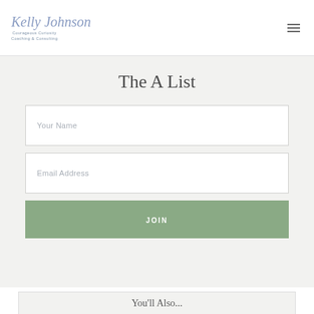Kelly Johnson Courageous Curiosity Coaching & Consulting
The A List
[Figure (infographic): Form with Your Name input field, Email Address input field, and a JOIN button in sage green]
You'll Also...